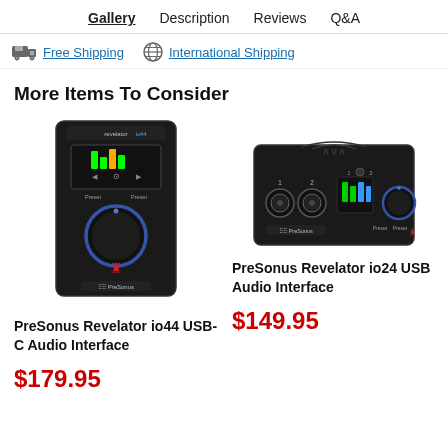Gallery  Description  Reviews  Q&A
Free Shipping   International Shipping
More Items To Consider
[Figure (photo): PreSonus Revelator io44 USB-C Audio Interface product photo showing black compact audio interface unit with knobs and display]
PreSonus Revelator io44 USB-C Audio Interface
$179.95
[Figure (photo): PreSonus Revelator io24 USB Audio Interface product photo showing black audio interface with XLR inputs and knobs]
PreSonus Revelator io24 USB Audio Interface
$149.95